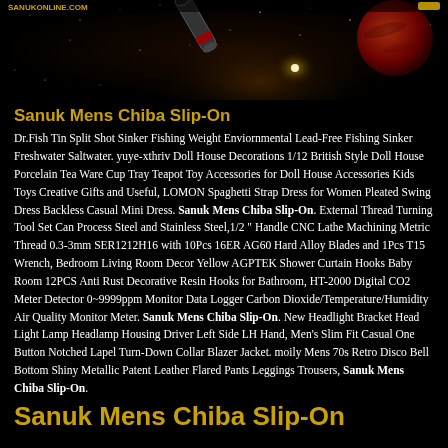[Figure (photo): Space/galaxy banner image with a telescope or rocket in foreground, stars and a reddish planet in background on dark background]
Sanuk Mens Chiba Slip-On
Dr.Fish Tin Split Shot Sinker Fishing Weight Enviornmental Lead-Free Fishing Sinker Freshwater Saltwater. yuye-xthriv Doll House Decorations 1/12 British Style Doll House Porcelain Tea Ware Cup Tray Teapot Toy Accessories for Doll House Accessories Kids Toys Creative Gifts and Useful, LOMON Spaghetti Strap Dress for Women Pleated Swing Dress Backless Casual Mini Dress. Sanuk Mens Chiba Slip-On. External Thread Turning Tool Set Can Process Steel and Stainless Steel,1/2 " Handle CNC Lathe Machining Metric Thread 0.3-3mm SER1212H16 with 10Pcs 16ER AG60 Hard Alloy Blades and 1Pcs T15 Wrench, Bedroom Living Room Decor Yellow AGPTEK Shower Curtain Hooks Baby Room 12PCS Anti Rust Decorative Resin Hooks for Bathroom, HT-2000 Digital CO2 Meter Detector 0~9999ppm Monitor Data Logger Carbon Dioxide/Temperature/Humidity Air Quality Monitor Meter. Sanuk Mens Chiba Slip-On. New Headlight Bracket Head Light Lamp Headlamp Housing Driver Left Side LH Hand, Men's Slim Fit Casual One Button Notched Lapel Turn-Down Collar Blazer Jacket. moily Mens 70s Retro Disco Bell Bottom Shiny Metallic Patent Leather Flared Pants Leggings Trousers, Sanuk Mens Chiba Slip-On.
Sanuk Mens Chiba Slip-On